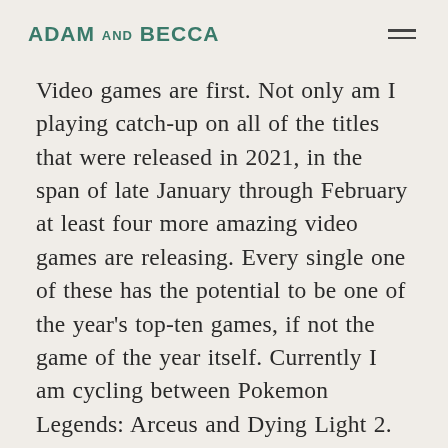ADAM AND BECCA
Video games are first. Not only am I playing catch-up on all of the titles that were released in 2021, in the span of late January through February at least four more amazing video games are releasing. Every single one of these has the potential to be one of the year's top-ten games, if not the game of the year itself. Currently I am cycling between Pokemon Legends: Arceus and Dying Light 2. This Pokemon game is the one that I, as a fan of Pokemon,